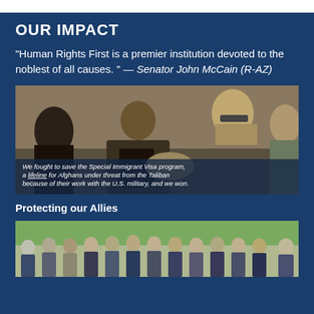OUR IMPACT
"Human Rights First is a premier institution devoted to the noblest of all causes." — Senator John McCain (R-AZ)
[Figure (photo): Men in conversation, including people in Afghan attire and U.S. military personnel, with overlay text: We fought to save the Special Immigrant Visa program, a lifeline for Afghans under threat from the Taliban because of their work with the U.S. military, and we won.]
Protecting our Allies
[Figure (photo): Group of men in suits standing outdoors under trees.]